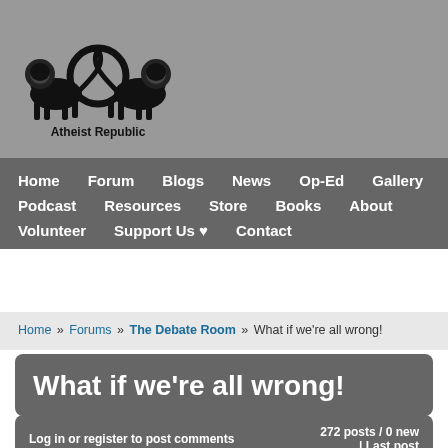[Figure (logo): Atheist Republic logo — two lions flanking a circular emblem, with text 'Atheist Republic' below]
Home  Forum  Blogs  News  Op-Ed  Gallery  Podcast  Resources  Store  Books  About  Volunteer  Support Us ♥  Contact
Home » Forums » The Debate Room » What if we're all wrong!
What if we're all wrong!
Log in or register to post comments  272 posts / 0 new  |  Last post